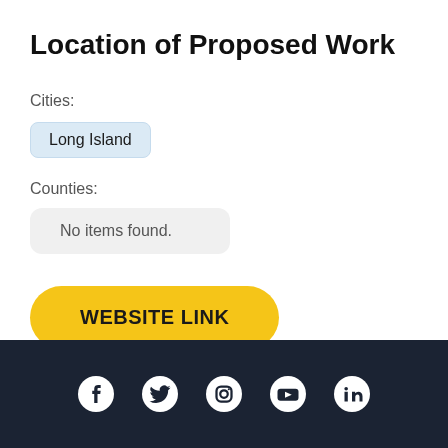Location of Proposed Work
Cities:
Long Island
Counties:
No items found.
WEBSITE LINK
Social media icons: Facebook, Twitter, Instagram, YouTube, LinkedIn